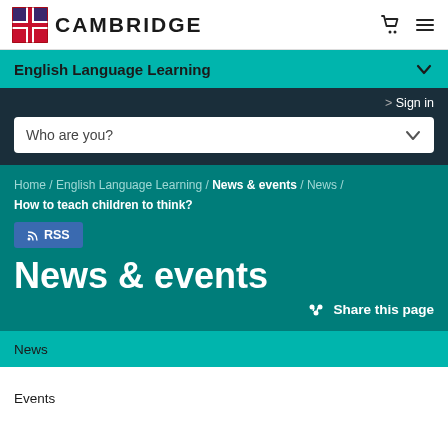CAMBRIDGE
English Language Learning
> Sign in
Who are you?
Home / English Language Learning / News & events / News / How to teach children to think?
RSS
News & events
Share this page
News
Events